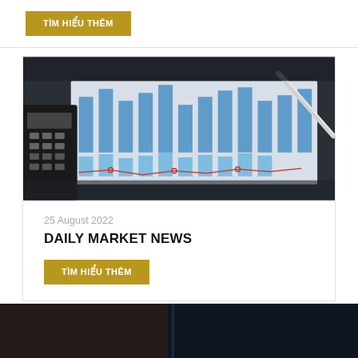TÌM HIỂU THÊM
[Figure (photo): Financial document with bar chart and line graph, calculator and pen visible on desk]
25 August 2022
DAILY MARKET NEWS
TÌM HIỂU THÊM
[Figure (photo): Dark background image, partial view of office or financial setting]